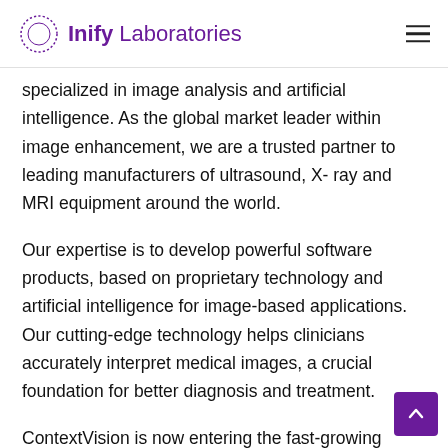Inify Laboratories
specialized in image analysis and artificial intelligence. As the global market leader within image enhancement, we are a trusted partner to leading manufacturers of ultrasound, X- ray and MRI equipment around the world.
Our expertise is to develop powerful software products, based on proprietary technology and artificial intelligence for image-based applications. Our cutting-edge technology helps clinicians accurately interpret medical images, a crucial foundation for better diagnosis and treatment.
ContextVision is now entering the fast-growing digital pathology market. We are re-investing significantly in our product portfolio of decision support tools, and we are